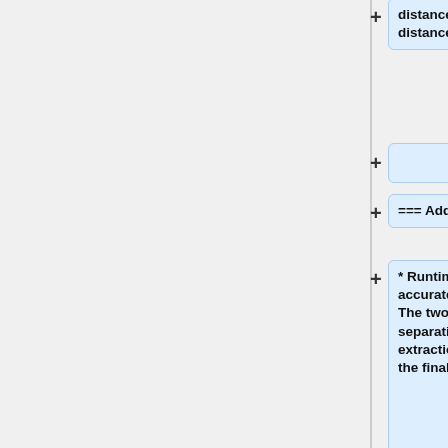distance to the average genre distance
=== Additional Data Reported ===
* Runtimes  - Where possible accurate runtimes will be recorded. The two call format allows separation of feature extraction/indexing runtimes from the final query runtimes.
== Submission Format ==
A submission to